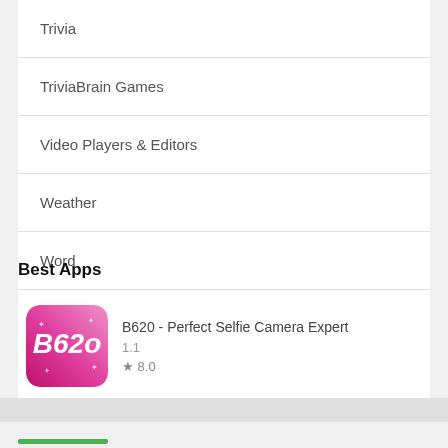Trivia
TriviaBrain Games
Video Players & Editors
Weather
Word
WordBrain Games
WordEducation
Best Apps
[Figure (screenshot): App icon for B620 - Perfect Selfie Camera Expert: pink/magenta gradient background with white stylized B620 text and small butterfly decorations]
B620 - Perfect Selfie Camera Expert
1.1
★ 8.0